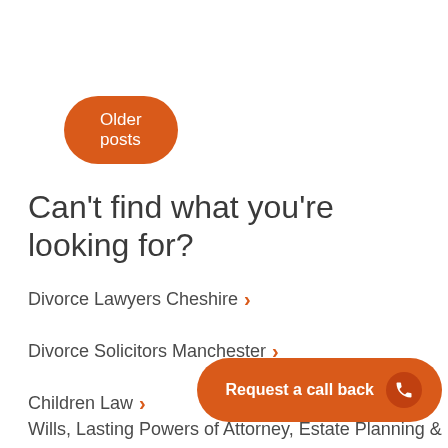Older posts
Can't find what you're looking for?
Divorce Lawyers Cheshire
Divorce Solicitors Manchester
Children Law
Wills, Lasting Powers of Attorney, Estate Planning &
Request a call back